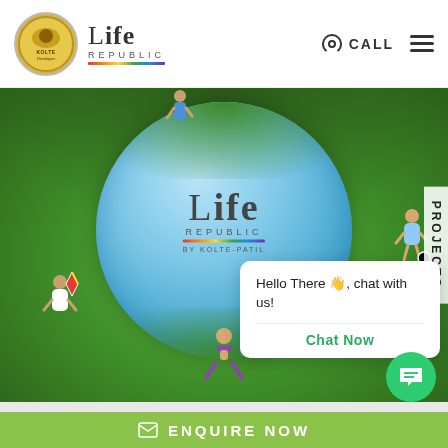[Figure (logo): Kolte-Patil developer circular logo with lion emblem]
[Figure (logo): Life Republic by Kolte-Patil wordmark logo with rainbow underline]
CALL
[Figure (photo): Hero image showing a tiny planet / fisheye sphere of green grass with people doing activities (flying kite, doing yoga, playing football) around a circular sky opening showing the Life Republic by Kolte-Patil logo. Vertical 'PROJECTS' tab on the right edge.]
Hello There 👋, chat with us!
Chat Now
ENQUIRE NOW